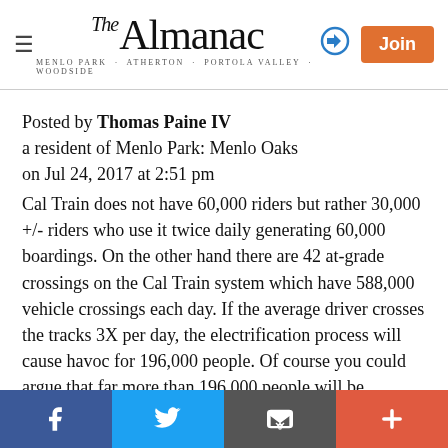The Almanac — Menlo Park · Atherton · Portola Valley · Woodside
Posted by Thomas Paine IV
a resident of Menlo Park: Menlo Oaks
on Jul 24, 2017 at 2:51 pm
Cal Train does not have 60,000 riders but rather 30,000 +/- riders who use it twice daily generating 60,000 boardings. On the other hand there are 42 at-grade crossings on the Cal Train system which have 588,000 vehicle crossings each day. If the average driver crosses the tracks 3X per day, the electrification process will cause havoc for 196,000 people. Of course you could argue that far more than 196,000 people will be impacted as traffic builds at the crossings and blocks North/South
Facebook | Twitter | Email | +